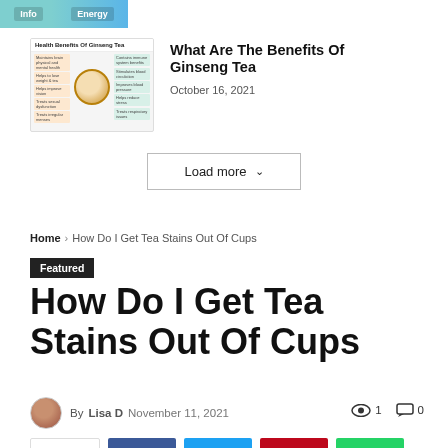[Figure (screenshot): Top banner snippet showing teal/blue gradient with labels]
[Figure (infographic): Health Benefits Of Ginseng Tea infographic thumbnail with text rows and food image]
What Are The Benefits Of Ginseng Tea
October 16, 2021
Load more ˅
Home › How Do I Get Tea Stains Out Of Cups
Featured
How Do I Get Tea Stains Out Of Cups
By Lisa D   November 11, 2021
1
0